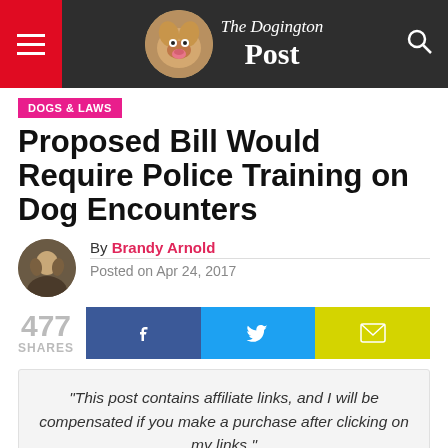The Dogington Post
DOGS & LAWS
Proposed Bill Would Require Police Training on Dog Encounters
By Brandy Arnold
Posted on Apr 24, 2017
477 SHARES
“This post contains affiliate links, and I will be compensated if you make a purchase after clicking on my links.”